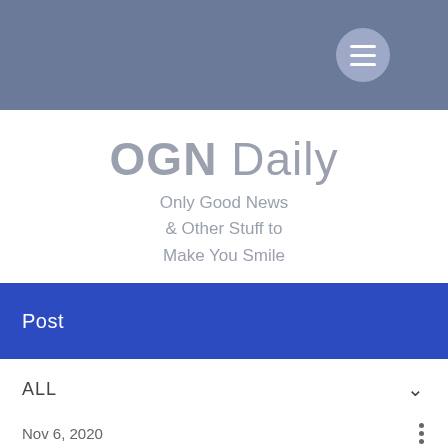[Figure (screenshot): Navigation bar with hamburger menu icon on grey-blue background]
OGN Daily
Only Good News & Other Stuff to Make You Smile
Post
ALL
Nov 6, 2020
School Food Menu Slashes Greenhouse Gas
Milan cuts its greenhouse gas emissions